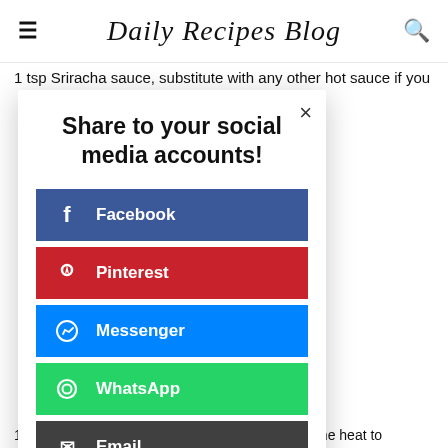Daily Recipes Blog
1 tsp Sriracha sauce, substitute with any other hot sauce if you
Share to your social media accounts!
Facebook
Pinterest
Messenger
WhatsApp
Email
Print
1. Place a large frying pan on the stove and turn the heat to